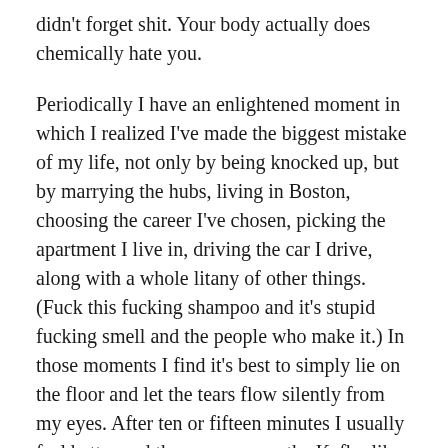didn't forget shit. Your body actually does chemically hate you.
Periodically I have an enlightened moment in which I realized I've made the biggest mistake of my life, not only by being knocked up, but by marrying the hubs, living in Boston, choosing the career I've chosen, picking the apartment I live in, driving the car I drive, along with a whole litany of other things. (Fuck this fucking shampoo and it's stupid fucking smell and the people who make it.) In those moments I find it's best to simply lie on the floor and let the tears flow silently from my eyes. After ten or fifteen minutes I usually feel better and then commence the Kafka-like task of rolling around on the floor like a bug on its shell trying to get up. That either ends in laugher or another 10-15 of silent tears.